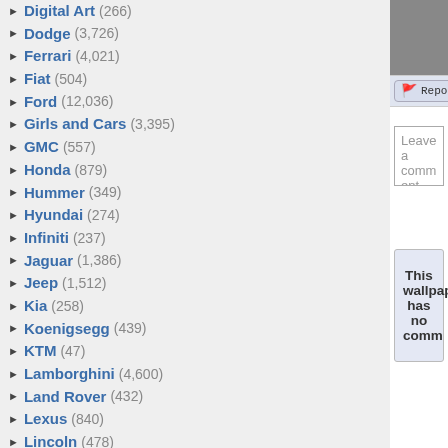Digital Art (266)
Dodge (3,726)
Ferrari (4,021)
Fiat (504)
Ford (12,036)
Girls and Cars (3,395)
GMC (557)
Honda (879)
Hummer (349)
Hyundai (274)
Infiniti (237)
Jaguar (1,386)
Jeep (1,512)
Kia (258)
Koenigsegg (439)
KTM (47)
Lamborghini (4,600)
Land Rover (432)
Lexus (840)
Lincoln (478)
Lotus (495)
Maserati (373)
Mazda (552)
McLaren (755)
Mercedes (2,964)
Mini Cooper (332)
Mitsubishi (517)
Motorcycles (Link)
Nissan (1,497)
Oldsmobile (492)
[Figure (photo): Car wallpaper image, partially visible, dark/grey tones]
Report This Wallpaper
Add To F
Leave a comment...
This wallpaper has no comm